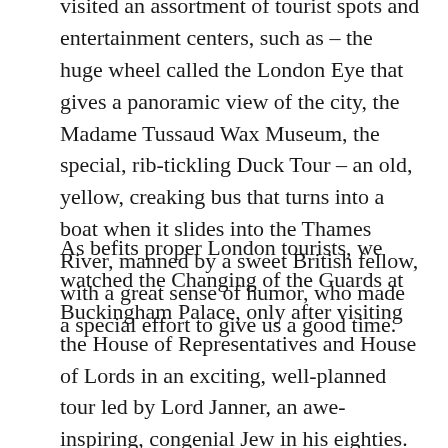visited an assortment of tourist spots and entertainment centers, such as – the huge wheel called the London Eye that gives a panoramic view of the city, the Madame Tussaud Wax Museum, the special, rib-tickling Duck Tour – an old, yellow, creaking bus that turns into a boat when it slides into the Thames River, manned by a sweet British fellow, with a great sense of humor, who made a special effort to give us a good time.
As befits proper London tourists, we watched the Changing of the Guards at Buckingham Palace, only after visiting the House of Representatives and House of Lords in an exciting, well-planned tour led by Lord Janner, an awe-inspiring, congenial Jew in his eighties. We also strolled down the streets of London, emerging at the queen's second palace – Windsor castle. And all this is just a small sampling of all the wonderful sites we visited.